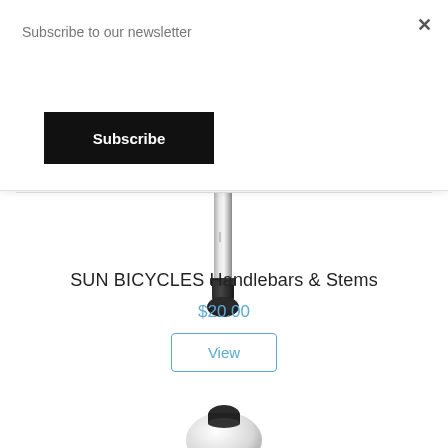Subscribe to our newsletter
Subscribe
[Figure (photo): Product photo of a bicycle handlebar stem, black and chrome, viewed from the side against white background]
SUN BICYCLES Handlebars & Stems
$20.00
View
[Figure (photo): Product photo of a white bicycle component (bell or mirror) partially visible at bottom of page]